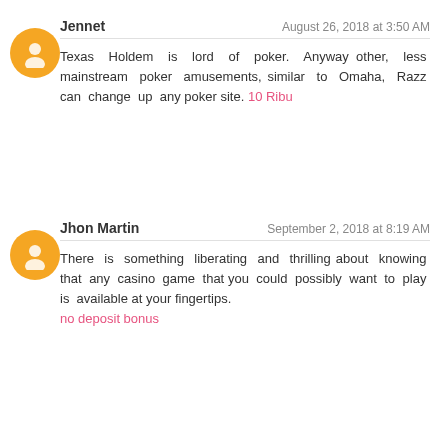Jennet — August 26, 2018 at 3:50 AM
Texas Holdem is lord of poker. Anyway other, less mainstream poker amusements, similar to Omaha, Razz can change up any poker site. 10 Ribu
Jhon Martin — September 2, 2018 at 8:19 AM
There is something liberating and thrilling about knowing that any casino game that you could possibly want to play is available at your fingertips.
no deposit bonus